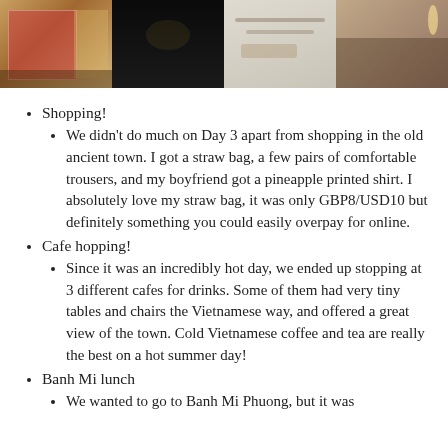[Figure (photo): Strip of four travel photos: a colorful storefront, a dark nighttime scene, a restaurant table setting, and people dining by candlelight.]
Shopping!
We didn't do much on Day 3 apart from shopping in the old ancient town. I got a straw bag, a few pairs of comfortable trousers, and my boyfriend got a pineapple printed shirt. I absolutely love my straw bag, it was only GBP8/USD10 but definitely something you could easily overpay for online.
Cafe hopping!
Since it was an incredibly hot day, we ended up stopping at 3 different cafes for drinks. Some of them had very tiny tables and chairs the Vietnamese way, and offered a great view of the town. Cold Vietnamese coffee and tea are really the best on a hot summer day!
Banh Mi lunch
We wanted to go to Banh Mi Phuong, but it was